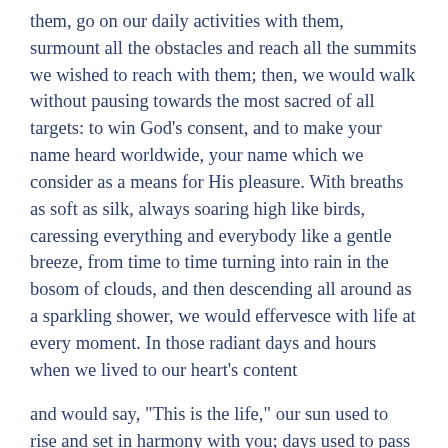them, go on our daily activities with them, surmount all the obstacles and reach all the summits we wished to reach with them; then, we would walk without pausing towards the most sacred of all targets: to win God's consent, and to make your name heard worldwide, your name which we consider as a means for His pleasure. With breaths as soft as silk, always soaring high like birds, caressing everything and everybody like a gentle breeze, from time to time turning into rain in the bosom of clouds, and then descending all around as a sparkling shower, we would effervesce with life at every moment. In those radiant days and hours when we lived to our heart's content
and would say, "This is the life," our sun used to rise and set in harmony with you; days used to pass brightly like your face; nights used to sing to us from your black side-locks; and our pulses would always